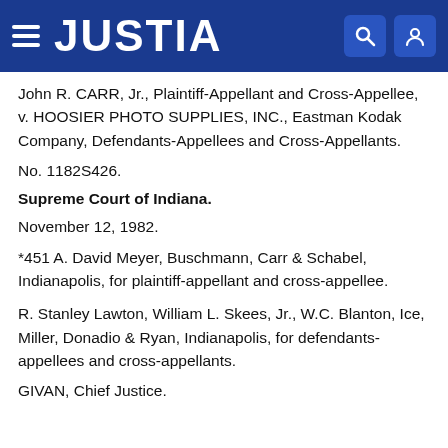JUSTIA
John R. CARR, Jr., Plaintiff-Appellant and Cross-Appellee, v. HOOSIER PHOTO SUPPLIES, INC., Eastman Kodak Company, Defendants-Appellees and Cross-Appellants.
No. 1182S426.
Supreme Court of Indiana.
November 12, 1982.
*451 A. David Meyer, Buschmann, Carr & Schabel, Indianapolis, for plaintiff-appellant and cross-appellee.
R. Stanley Lawton, William L. Skees, Jr., W.C. Blanton, Ice, Miller, Donadio & Ryan, Indianapolis, for defendants-appellees and cross-appellants.
GIVAN, Chief Justice.